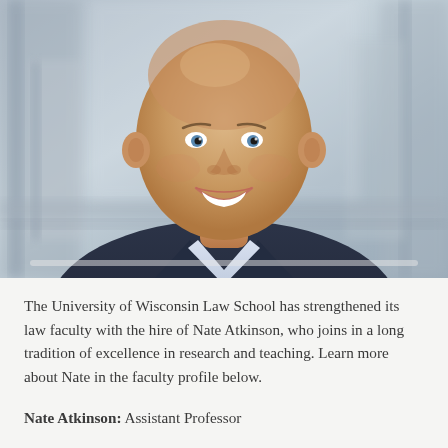[Figure (photo): Professional headshot of Nate Atkinson, a bald man smiling, wearing a dark navy blazer over a light blue/white shirt, photographed outdoors with a blurred building background]
The University of Wisconsin Law School has strengthened its law faculty with the hire of Nate Atkinson, who joins in a long tradition of excellence in research and teaching. Learn more about Nate in the faculty profile below.
Nate Atkinson: Assistant Professor